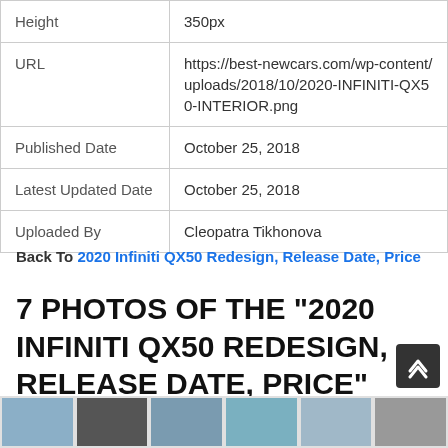| Field | Value |
| --- | --- |
| Height | 350px |
| URL | https://best-newcars.com/wp-content/uploads/2018/10/2020-INFINITI-QX50-INTERIOR.png |
| Published Date | October 25, 2018 |
| Latest Updated Date | October 25, 2018 |
| Uploaded By | Cleopatra Tikhonova |
Back To 2020 Infiniti QX50 Redesign, Release Date, Price
7 PHOTOS OF THE "2020 INFINITI QX50 REDESIGN, RELEASE DATE, PRICE"